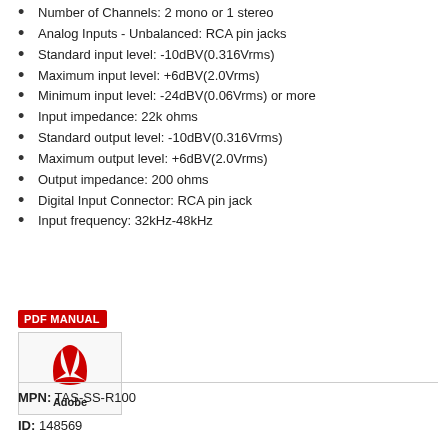Number of Channels: 2 mono or 1 stereo
Analog Inputs - Unbalanced: RCA pin jacks
Standard input level: -10dBV(0.316Vrms)
Maximum input level: +6dBV(2.0Vrms)
Minimum input level: -24dBV(0.06Vrms) or more
Input impedance: 22k ohms
Standard output level: -10dBV(0.316Vrms)
Maximum output level: +6dBV(2.0Vrms)
Output impedance: 200 ohms
Digital Input Connector: RCA pin jack
Input frequency: 32kHz-48kHz
[Figure (logo): PDF Manual badge with Adobe Acrobat logo icon]
MPN: TAS-SS-R100
ID: 148569